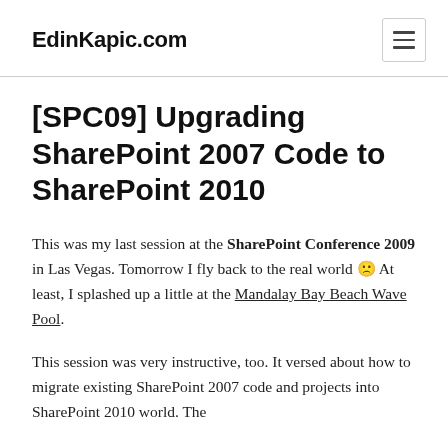EdinKapic.com
[SPC09] Upgrading SharePoint 2007 Code to SharePoint 2010
This was my last session at the SharePoint Conference 2009 in Las Vegas. Tomorrow I fly back to the real world 🙁 At least, I splashed up a little at the Mandalay Bay Beach Wave Pool.
This session was very instructive, too. It versed about how to migrate existing SharePoint 2007 code and projects into SharePoint 2010 world. The